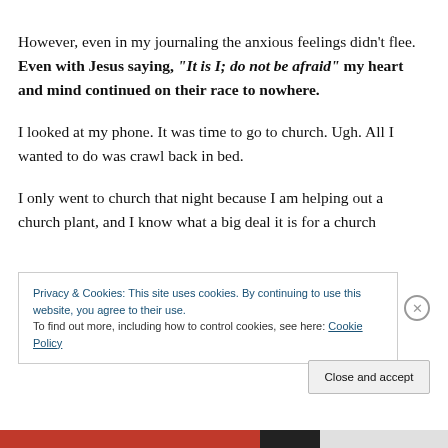However, even in my journaling the anxious feelings didn't flee. Even with Jesus saying, "It is I; do not be afraid" my heart and mind continued on their race to nowhere.
I looked at my phone. It was time to go to church. Ugh. All I wanted to do was crawl back in bed.
I only went to church that night because I am helping out a church plant, and I know what a big deal it is for a church
Privacy & Cookies: This site uses cookies. By continuing to use this website, you agree to their use.
To find out more, including how to control cookies, see here: Cookie Policy
Close and accept